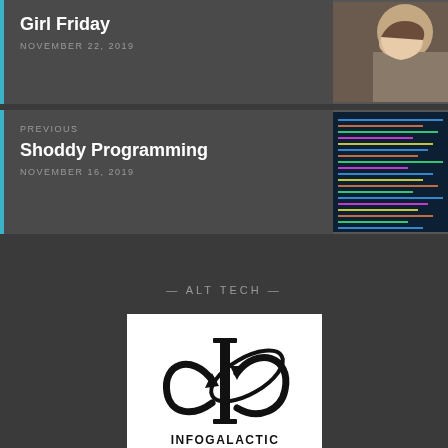Girl Friday
NOVEMBER 22, 2019
PREVIOUS
Shoddy Programming
NOVEMBER 16, 2019
— ALT TECH —
[Figure (logo): Infogalactic planetary knowledge core logo — black I with orbital ring symbol on white background]